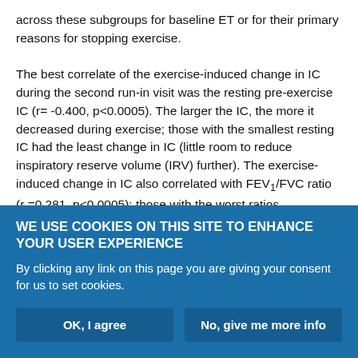across these subgroups for baseline ET or for their primary reasons for stopping exercise.

The best correlate of the exercise-induced change in IC during the second run-in visit was the resting pre-exercise IC (r= -0.400, p<0.0005). The larger the IC, the more it decreased during exercise; those with the smallest resting IC had the least change in IC (little room to reduce inspiratory reserve volume (IRV) further). The exercise-induced change in IC also correlated with FEV1/FVC ratio (r =0.281, p<0.0005): those with the worst ratios experienced greater reductions in IC. The combination of resting IC and FEV1 explained 13% of the variance in the exercise-induced change in IC.
WE USE COOKIES ON THIS SITE TO ENHANCE YOUR USER EXPERIENCE
By clicking any link on this page you are giving your consent for us to set cookies.